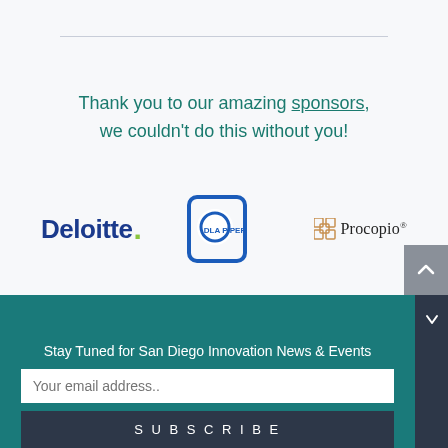Thank you to our amazing sponsors, we couldn't do this without you!
[Figure (logo): Deloitte logo in dark blue bold text with a green dot]
[Figure (logo): DLA Piper logo with blue square outline icon and blue text]
[Figure (logo): Procopio logo with orange grid icon and serif text]
Stay Tuned for San Diego Innovation News & Events
Your email address..
SUBSCRIBE